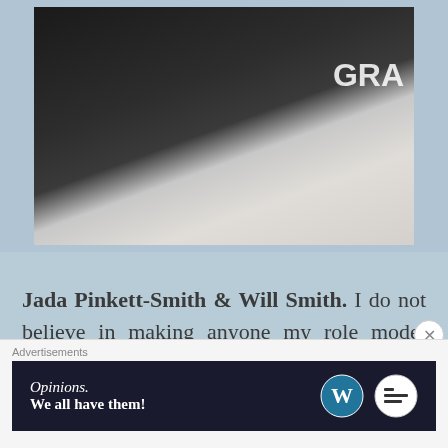[Figure (photo): Photo of two people at a Grammy event. Left person wearing black suit, right person in silver/white mesh dress holding a decorative clutch. Partial Grammy logo visible in background.]
Jada Pinkett-Smith & Will Smith. I do not believe in making anyone my role model because like Tupac said: “a role is something people play, a model is something people make, and both of
Advertisements
[Figure (screenshot): Advertisement banner with dark background. Text reads: 'Opinions. We all have them!' with WordPress logo and another circular logo on the right.]